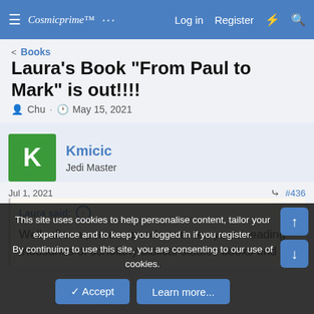Cosmicprime Log in Register
< Books
Laura's Book "From Paul to Mark" is out!!!!
Chu · May 15, 2021
Kmicic
Jedi Master
Jul 1, 2021  #436
Laura said: ↑
Well, after a person spends over ten years reading thousands of scholarly biblical studies books and
This site uses cookies to help personalise content, tailor your experience and to keep you logged in if you register.
By continuing to use this site, you are consenting to our use of cookies.
✓ Accept  Learn more...